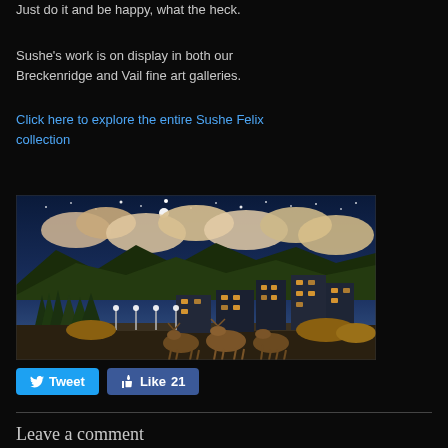Just do it and be happy, what the heck.
Sushe's work is on display in both our Breckenridge and Vail fine art galleries.
Click here to explore the entire Sushe Felix collection
[Figure (illustration): A folk art style painting of a mountain town at night with moose in the foreground, pine trees on the left, buildings with lit windows in the middle and right, mountains in the background, and a starry sky with clouds above.]
Tweet  Like 21
Leave a comment